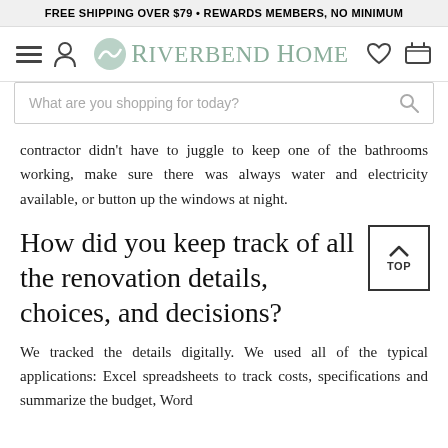FREE SHIPPING OVER $79 • REWARDS MEMBERS, NO MINIMUM
Riverbend Home — navigation bar with menu, account, wishlist, cart icons and search bar
contractor didn't have to juggle to keep one of the bathrooms working, make sure there was always water and electricity available, or button up the windows at night.
How did you keep track of all the renovation details, choices, and decisions?
We tracked the details digitally. We used all of the typical applications: Excel spreadsheets to track costs, specifications and summarize the budget, Word